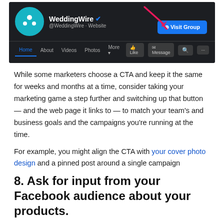[Figure (screenshot): Screenshot of WeddingWire Facebook page showing logo, name with verified badge, Visit Group button highlighted with pink arrow, and navigation bar (Home, About, Videos, Photos, More) with Like, Message, search buttons.]
While some marketers choose a CTA and keep it the same for weeks and months at a time, consider taking your marketing game a step further and switching up that button — and the web page it links to — to match your team's and business goals and the campaigns you're running at the time.
For example, you might align the CTA with your cover photo design and a pinned post around a single campaign
8. Ask for input from your Facebook audience about your products.
You can feed two birds with one scone (as my colleague Carly Stec would say) by posting a status update asking for feedback on